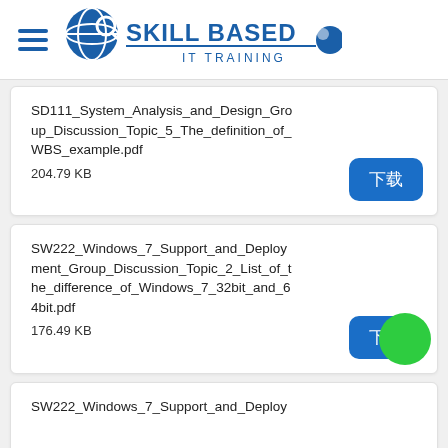SKILL BASED IT TRAINING
SD111_System_Analysis_and_Design_Group_Discussion_Topic_5_The_definition_of_WBS_example.pdf
204.79 KB
SW222_Windows_7_Support_and_Deployment_Group_Discussion_Topic_2_List_of_the_difference_of_Windows_7_32bit_and_64bit.pdf
176.49 KB
SW222_Windows_7_Support_and_Deploy